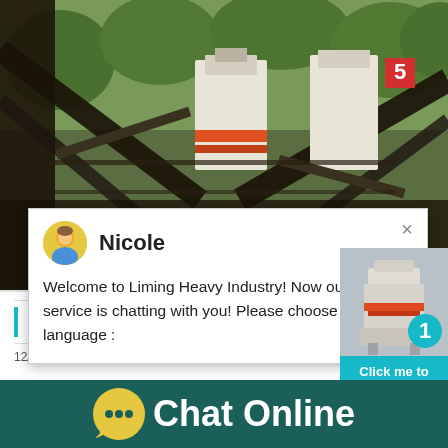[Figure (photo): Industrial limestone grinding/crushing machinery site with metal framework, conveyor structures, two large cone crushers (white/orange), and trees in background]
[Figure (screenshot): Live chat popup from Liming Heavy Industry website. Avatar of agent 'Nicole', message: 'Welcome to Liming Heavy Industry! Now our on-line service is chatting with you! Please choose the language :']
Nicole
Welcome to Liming Heavy Industry! Now our on-line service is chatting with you! Please choose the language :
[Figure (photo): Thumbnail of cone crusher machine with cyan/teal background and circular badge showing '1', with 'Click me to chat>>' button below]
Limestone Grinding Machine Me
12/04/2021 · Limestone Grinding Machine ...
Chat Online